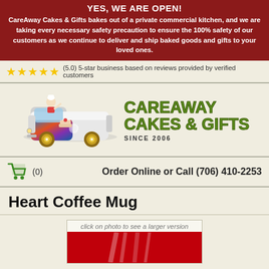YES, WE ARE OPEN!
CareAway Cakes & Gifts bakes out of a private commercial kitchen, and we are taking every necessary safety precaution to ensure the 100% safety of our customers as we continue to deliver and ship baked goods and gifts to your loved ones.
★★★★★ (5.0) 5-star business based on reviews provided by verified customers
[Figure (logo): CareAway Cakes & Gifts logo featuring a cartoon VW van with a baker, alongside green bold text 'CAREAWAY CAKES & GIFTS SINCE 2006']
(0)  Order Online or Call (706) 410-2253
Heart Coffee Mug
[Figure (photo): Product photo of Heart Coffee Mug, partially visible red product image with caption 'click on photo to see a larger version']